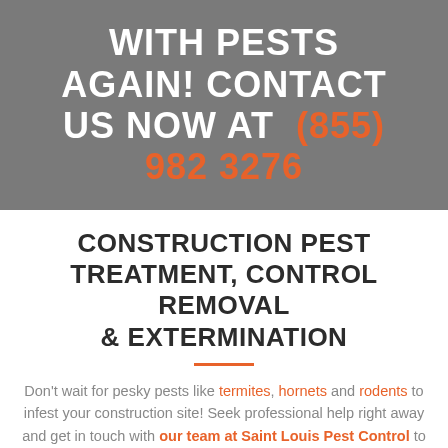WITH PESTS AGAIN! CONTACT US NOW AT (855) 982 3276
CONSTRUCTION PEST TREATMENT, CONTROL REMOVAL & EXTERMINATION
Don't wait for pesky pests like termites, hornets and rodents to infest your construction site! Seek professional help right away and get in touch with our team at Saint Louis Pest Control to avoid pest damage at your property.